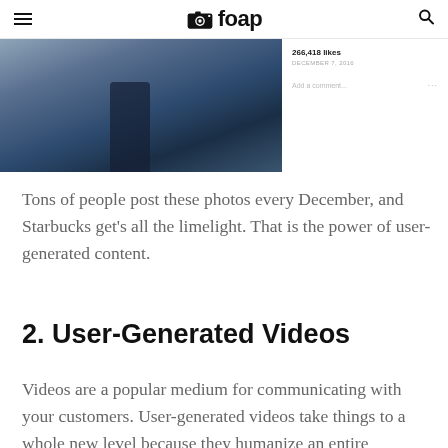foap
[Figure (screenshot): Screenshot of a dark moody photo (appears to be a foggy/dark scene) with 266,418 likes, posted December 7, 2016, with an 'Add a comment...' field and a '...' menu icon on the right side]
Tons of people post these photos every December, and Starbucks get's all the limelight. That is the power of user-generated content.
2. User-Generated Videos
Videos are a popular medium for communicating with your customers. User-generated videos take things to a whole new level because they humanize an entire campaign. Videos taken by normal people in their own amateur way